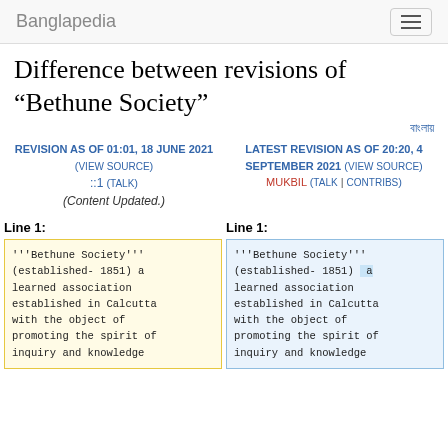Banglapedia
Difference between revisions of "Bethune Society"
বাংলায় দেখুন
Revision as of 01:01, 18 June 2021 (view source)
::1 (talk)
(Content Updated.)
Latest revision as of 20:20, 4 September 2021 (view source)
Mukbil (talk | contribs)
Line 1:
Line 1:
'''Bethune Society''' (established- 1851) a learned association established in Calcutta with the object of promoting the spirit of inquiry and knowledge
'''Bethune Society''' (established- 1851) a learned association established in Calcutta with the object of promoting the spirit of inquiry and knowledge